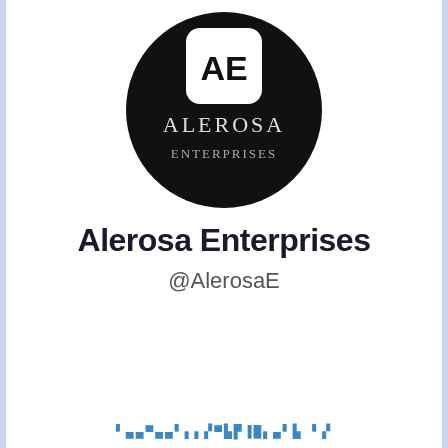[Figure (logo): Black circular logo with white rounded square containing 'AE' initials, and 'Alerosa Enterprises' text in white below inside the circle]
Alerosa Enterprises
@AlerosaE
Follow button / social media profile footer text (decorative/pixel font)